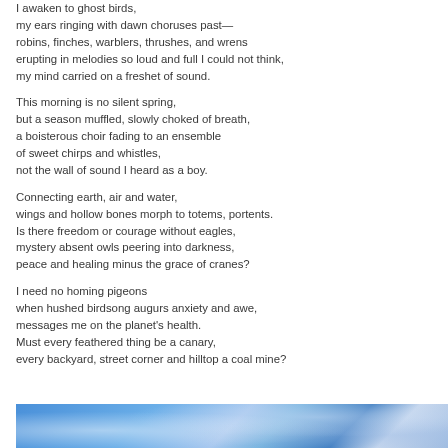I awaken to ghost birds,
my ears ringing with dawn choruses past—
robins, finches, warblers, thrushes, and wrens
erupting in melodies so loud and full I could not think,
my mind carried on a freshet of sound.
This morning is no silent spring,
but a season muffled, slowly choked of breath,
a boisterous choir fading to an ensemble
of sweet chirps and whistles,
not the wall of sound I heard as a boy.
Connecting earth, air and water,
wings and hollow bones morph to totems, portents.
Is there freedom or courage without eagles,
mystery absent owls peering into darkness,
peace and healing minus the grace of cranes?
I need no homing pigeons
when hushed birdsong augurs anxiety and awe,
messages me on the planet's health.
Must every feathered thing be a canary,
every backyard, street corner and hilltop a coal mine?
[Figure (photo): Bottom portion of page showing a sky scene with blue tones and clouds, partially visible]